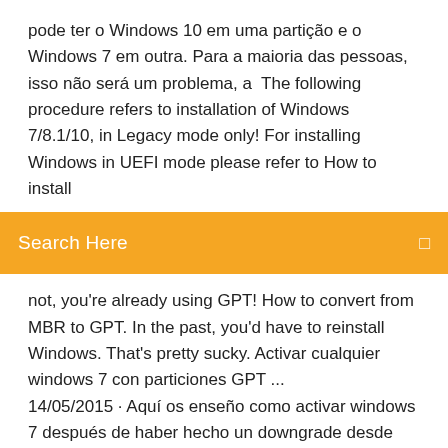pode ter o Windows 10 em uma partição e o Windows 7 em outra. Para a maioria das pessoas, isso não será um problema, a  The following procedure refers to installation of Windows 7/8.1/10, in Legacy mode only! For installing Windows in UEFI mode please refer to How to install
[Figure (other): Orange search bar with text 'Search Here' and a search icon on the right]
not, you're already using GPT! How to convert from MBR to GPT. In the past, you'd have to reinstall Windows. That's pretty sucky. Activar cualquier windows 7 con particiones GPT ... 14/05/2015 · Aquí os enseño como activar windows 7 después de haber hecho un downgrade desde windows 8 o windows 8.1 y activarlo gratis. Sirve para cualquier windows 7. LINKS aqui ... Win 7 install to UEFI / GPT - Page 3 - Windows 7 … 19/03/2015 · I attempted to install Windows 7 to the new SSD using Rufus and as many other tools as I could find but every time it freezes at the Windows logo. I swapped back to the original hard disk